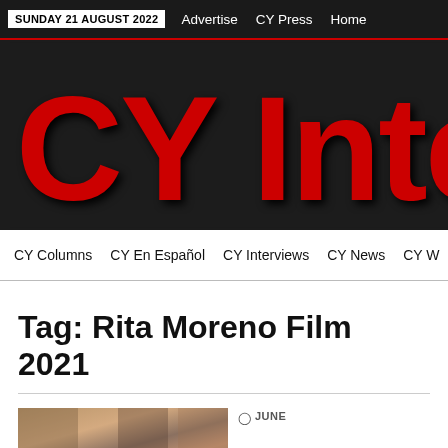SUNDAY 21 AUGUST 2022   Advertise   CY Press   Home
[Figure (logo): CY International logo — large red bold text 'CY Inte' on dark background, partially cropped]
CY Columns   CY En Español   CY Interviews   CY News   CY W
Tag: Rita Moreno Film 2021
[Figure (photo): Partial thumbnail image of a film, brownish tones, partially visible at bottom of page]